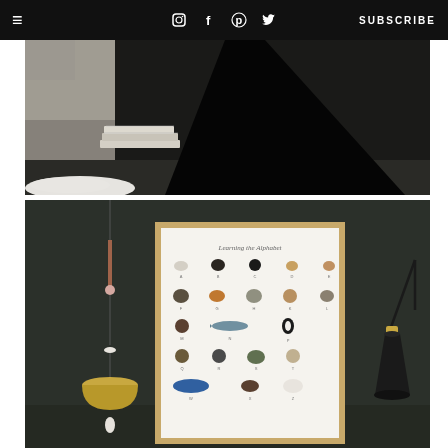≡  [instagram] [facebook] [pinterest] [twitter]  SUBSCRIBE
[Figure (photo): Interior room scene with a black draped fabric or tent-like structure, stacked books, and a white fur rug on the floor, dark moody atmosphere]
[Figure (photo): Dark green-black wall with a framed animal alphabet poster in a wood frame, a hanging gold pendant lamp on the left, and a black wall-mounted adjustable sconce lamp on the right]